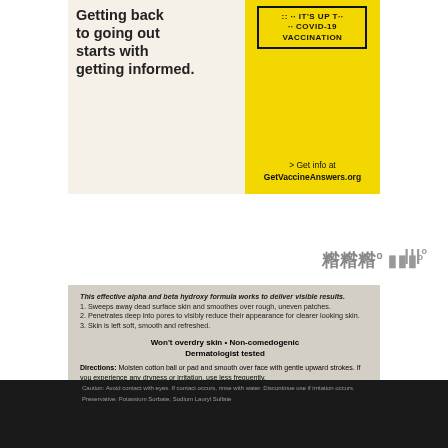[Figure (photo): Advertisement banner: left side cream background with bold text 'Getting back to going out starts with getting informed.' Right side yellow background with COVID-19 vaccination badge and text '> Get info at GetVaccineAnswers.org']
[Figure (photo): Photo of a skincare product label showing alpha and beta hydroxy formula description, numbered benefits, directions, sunburn alert, and other warnings on a gray/tan background.]
This effective alpha and beta hydroxy formula works to deliver visible results.
1. Sweeps away dead surface skin and smoothes over rough, uneven patches.
2. Penetrates deep into pores to visibly reduce their appearance for clearer looking skin.
3. Skin is left soft, smooth and refreshed.
Won't overdry skin • Non-comedogenic
Dermatologist tested
Directions: Moisten cotton ball or pad and smooth over face with gentle upward strokes. If you experience any dryness or irritation, use less frequently.
Sunburn Alert: This product contains an alpha hydroxy acid (AHA) that may increase your skin's sensitivity to the sun and particularly the possibility of sunburn. Use a sunscreen, wear protective clothing, and limit sun exposure while using this product and for a week afterwards.